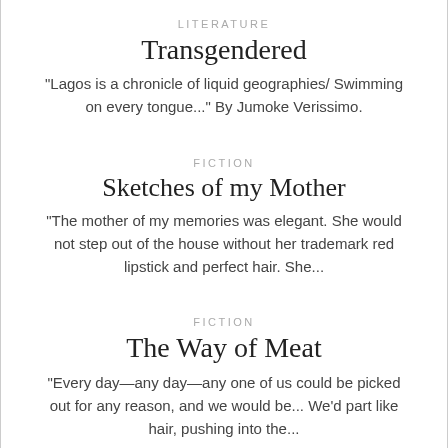LITERATURE
Transgendered
"Lagos is a chronicle of liquid geographies/ Swimming on every tongue..." By Jumoke Verissimo.
FICTION
Sketches of my Mother
"The mother of my memories was elegant. She would not step out of the house without her trademark red lipstick and perfect hair. She...
FICTION
The Way of Meat
"Every day—any day—any one of us could be picked out for any reason, and we would be... We'd part like hair, pushing into the...
FICTION
Between Two Worlds